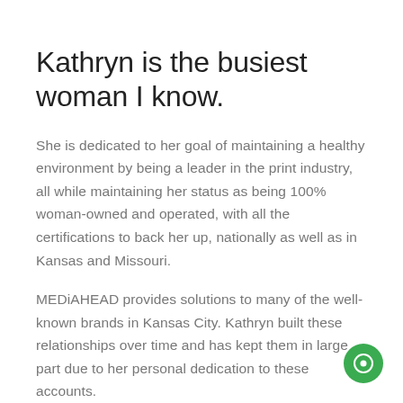Kathryn is the busiest woman I know.
She is dedicated to her goal of maintaining a healthy environment by being a leader in the print industry, all while maintaining her status as being 100% woman-owned and operated, with all the certifications to back her up, nationally as well as in Kansas and Missouri.
MEDiAHEAD provides solutions to many of the well-known brands in Kansas City. Kathryn built these relationships over time and has kept them in large part due to her personal dedication to these accounts.
[Figure (illustration): Green circular chat/messaging button icon in bottom-right corner]